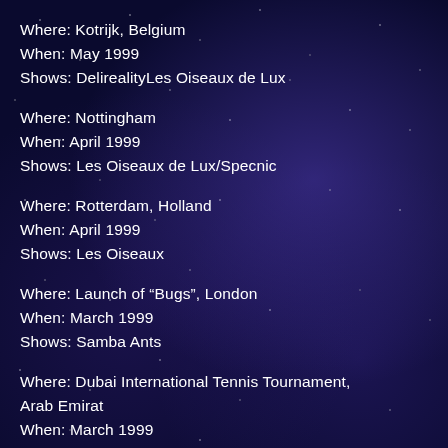Where: Kotrijk, Belgium
When: May 1999
Shows: DelirealityLes Oiseaux de Lux
Where: Nottingham
When: April 1999
Shows: Les Oiseaux de Lux/Specnic
Where: Rotterdam, Holland
When: April 1999
Shows: Les Oiseaux
Where: Launch of “Bugs”, London
When: March 1999
Shows: Samba Ants
Where: Dubai International Tennis Tournament, Arab Emirat
When: March 1999
Shows: Dali & Gala, Les Oiseaux